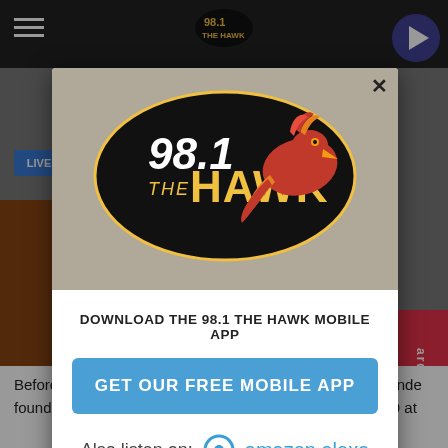[Figure (screenshot): Background webpage screenshot showing 98.1 The Hawk radio station website with dark top navigation bar, hamburger menu, play button, and partial article content about Ariana Grande]
[Figure (logo): 98.1 The Hawk radio station logo — black oval with yellow text '98.1' and 'THE HAWK' in bold yellow/white lettering, with a red hawk bird illustration on the right side]
DOWNLOAD THE 98.1 THE HAWK MOBILE APP
GET OUR FREE MOBILE APP
Also listen on:  amazon alexa
Before becoming one of the biggest pop stars, Ariana Grande found her fame on Nick's show Victorious. Grande in 2009 at